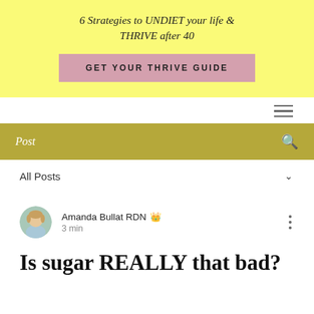[Figure (infographic): Yellow banner with italic text '6 Strategies to UNDIET your life & THRIVE after 40' and a pink button 'GET YOUR THRIVE GUIDE']
[Figure (other): Hamburger menu icon (three horizontal lines) on white background]
[Figure (other): Olive/gold search bar with 'Post' label and search icon]
All Posts
[Figure (photo): Circular avatar photo of Amanda Bullat RDN]
Amanda Bullat RDN 👑
3 min
Is sugar REALLY that bad?